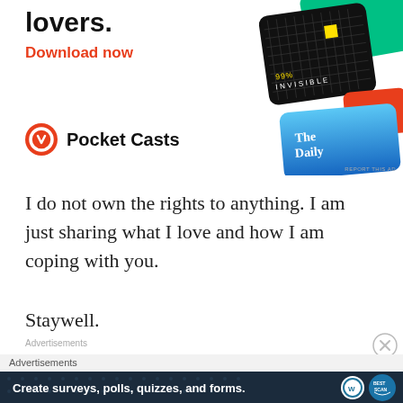[Figure (illustration): Pocket Casts app advertisement showing podcast app cards (99% Invisible, The Daily) on dark background, with bold text 'lovers.' and 'Download now' in red, and Pocket Casts logo]
I do not own the rights to anything. I am just sharing what I love and how I am coping with you.
Staywell.
Advertisements
[Figure (illustration): Advertisement banner: Create surveys, polls, quizzes, and forms. WordPress and WPForms logos on dark navy background.]